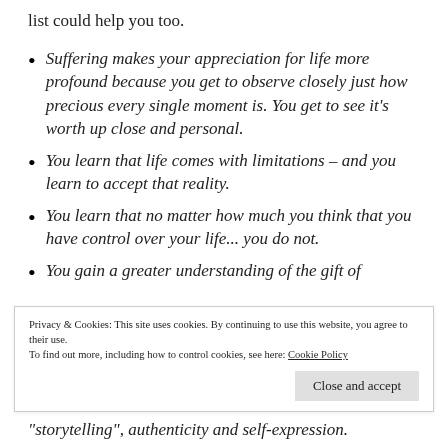list could help you too.
Suffering makes your appreciation for life more profound because you get to observe closely just how precious every single moment is. You get to see it's worth up close and personal.
You learn that life comes with limitations – and you learn to accept that reality.
You learn that no matter how much you think that you have control over your life... you do not.
You gain a greater understanding of the gift of
Privacy & Cookies: This site uses cookies. By continuing to use this website, you agree to their use.
To find out more, including how to control cookies, see here: Cookie Policy
Close and accept
“storytelling”, authenticity and self-expression.